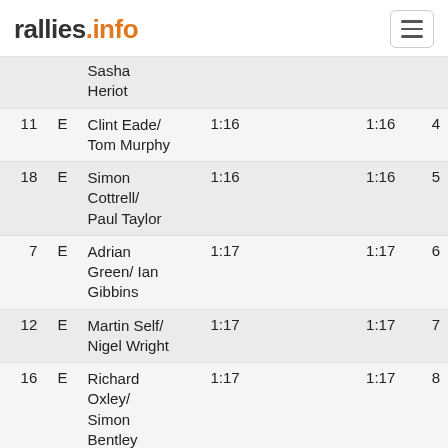rallies.info
|  |  | Name | T1 | T2 | T3 | Total | Pos |
| --- | --- | --- | --- | --- | --- | --- | --- |
|  |  | Sasha Heriot |  |  |  |  |  |
| 11 | E | Clint Eade/ Tom Murphy | 1:16 |  |  | 1:16 | 4 |
| 18 | E | Simon Cottrell/ Paul Taylor | 1:16 |  |  | 1:16 | 5 |
| 7 | E | Adrian Green/ Ian Gibbins | 1:17 |  |  | 1:17 | 6 |
| 12 | E | Martin Self/ Nigel Wright | 1:17 |  |  | 1:17 | 7 |
| 16 | E | Richard Oxley/ Simon Bentley | 1:17 |  |  | 1:17 | 8 |